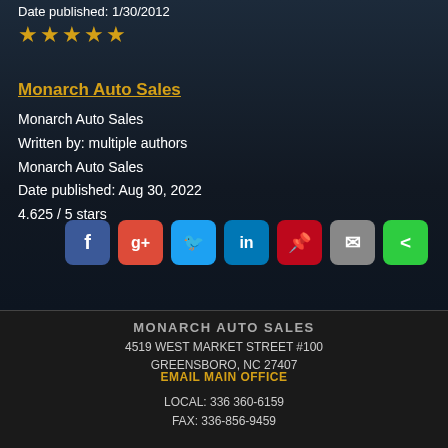Date published: 1/30/2012
★★★★★
Monarch Auto Sales
Monarch Auto Sales
Written by: multiple authors
Monarch Auto Sales
Date published: Aug 30, 2022
4.625 / 5 stars
[Figure (infographic): Social media sharing buttons: Facebook (blue), Google+ (red), Twitter (light blue), LinkedIn (blue), Pinterest (red), Email (gray), Share (green)]
MONARCH AUTO SALES
4519 WEST MARKET STREET #100
GREENSBORO, NC 27407
EMAIL MAIN OFFICE
LOCAL: 336 360-6159
FAX: 336-856-9459